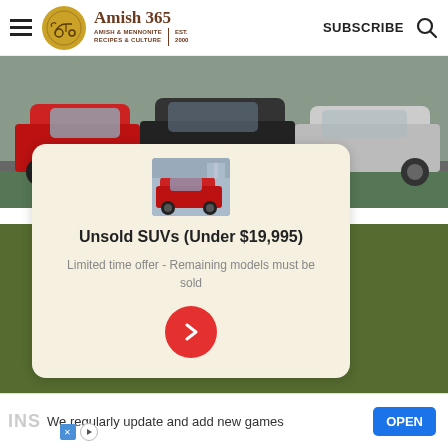Amish 365 - AMISH & MENNONITE RECIPES & CULTURE | EST. 2000 | SUBSCRIBE
[Figure (photo): Row of SUVs parked in a lot, seen from the front, various colors including red, black, white]
[Figure (photo): Small thumbnail of a red SUV in a parking lot]
Unsold SUVs (Under $19,995)
Limited time offer - Remaining models must be sold
We regularly update and add new games
OPEN